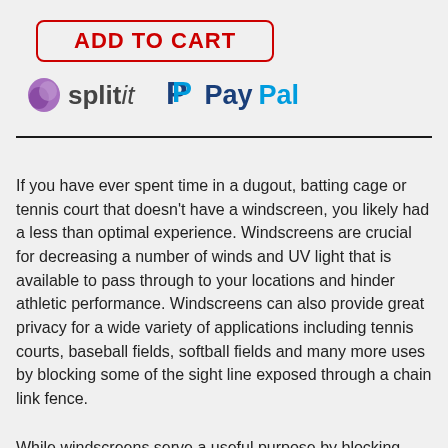[Figure (logo): ADD TO CART button with red border and red text]
[Figure (logo): Splitit and PayPal payment logos side by side]
If you have ever spent time in a dugout, batting cage or tennis court that doesn't have a windscreen, you likely had a less than optimal experience. Windscreens are crucial for decreasing a number of winds and UV light that is available to pass through to your locations and hinder athletic performance. Windscreens can also provide great privacy for a wide variety of applications including tennis courts, baseball fields, softball fields and many more uses by blocking some of the sight line exposed through a chain link fence.
While windscreens serve a useful purpose by blocking wind